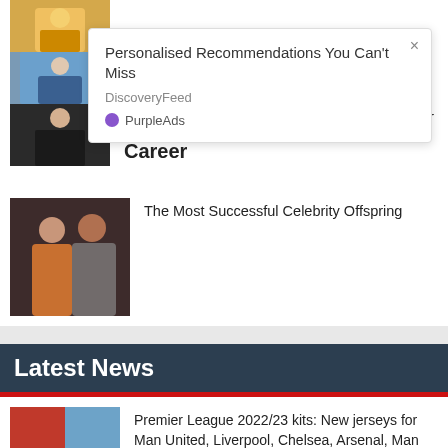[Figure (photo): Stacked thumbnail images: top shows person in yellow, middle shows person in blue jacket with backpack, bottom shows woman in black dress]
[Figure (screenshot): Popup overlay: Personalised Recommendations You Can't Miss - DiscoveryFeed - PurpleAds]
Career
her
[Figure (photo): Two women posing at event, one in orange dress, one in sparkly outfit]
The Most Successful Celebrity Offspring
Latest News
[Figure (photo): Premier League logos - Liverpool FC and Manchester City crests side by side]
Premier League 2022/23 kits: New jerseys for Man United, Liverpool, Chelsea, Arsenal, Man City and more revealed